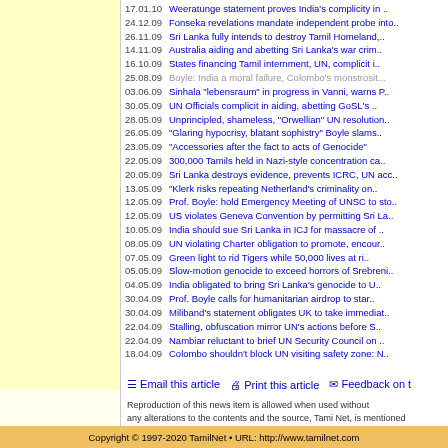17.01.10 Weeratunge statement proves India's complicity in ..
24.12.09 Fonseka revelations mandate independent probe into..
26.11.09 Sri Lanka fully intends to destroy Tamil Homeland,...
14.11.09 Australia aiding and abetting Sri Lanka's war crim..
16.10.09 States financing Tamil internment, UN, complicit i..
25.08.09 Boyle: India a moral failure, Colombo's monstrosit...
03.06.09 Sinhala "lebensraum" in progress in Vanni, warns P..
30.05.09 UN Officials complicit in aiding, abetting GoSL's ..
28.05.09 Unprincipled, shameless, "Orwellian" UN resolution..
26.05.09 "Glaring hypocrisy, blatant sophistry" Boyle slams..
23.05.09 "Accessories after the fact to acts of Genocide"
22.05.09 300,000 Tamils held in Nazi-style concentration ca..
20.05.09 Sri Lanka destroys evidence, prevents ICRC, UN acc..
13.05.09 "Klerk risks repeating Netherland's criminality on..
12.05.09 Prof. Boyle: hold Emergency Meeting of UNSC to sto..
12.05.09 US violates Geneva Convention by permitting Sri La..
10.05.09 India should sue Sri Lanka in ICJ for massacre of ..
08.05.09 UN violating Charter obligation to promote, encour..
07.05.09 Green light to rid Tigers while 50,000 lives at ri..
05.05.09 Slow-motion genocide to exceed horrors of Srebreni..
04.05.09 India obligated to bring Sri Lanka's genocide to U..
30.04.09 Prof. Boyle calls for humanitarian airdrop to star..
30.04.09 Miliband's statement obligates UK to take immediat..
22.04.09 Stalling, obfuscation mirror UN's actions before S..
22.04.09 Nambiar reluctant to brief UN Security Council on ..
18.04.09 Colombo shouldn't block UN visiting safety zone: N..
Email this article   Print this article   Feedback on t
Reproduction of this news item is allowed when used without any alterations to the contents and the source, TamilNet, is mentioned
News | Features | Opinion | Palaka'ni | Photo Features | Th Web feeds | Feedback | Home | About us
Copyright © 1997-2020 TamilNet • URL: http://www.tamilnet.com